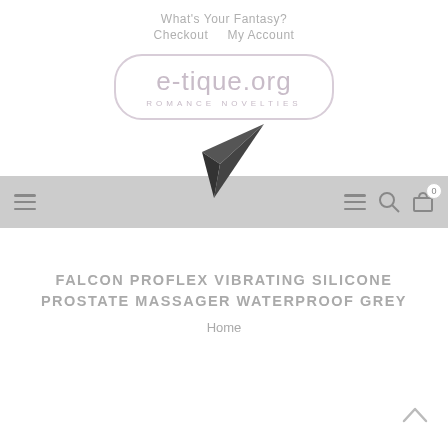What's Your Fantasy?
Checkout   My Account
[Figure (logo): e-tique.org ROMANCE NOVELTIES logo — rounded rectangle border, light purple/grey color scheme]
[Figure (illustration): Dark grey paper plane / arrow icon pointing right]
[Figure (screenshot): Navigation bar with hamburger menu icons on left, hamburger, search, and cart (0) icons on right, grey background]
FALCON PROFLEX VIBRATING SILICONE PROSTATE MASSAGER WATERPROOF GREY
Home